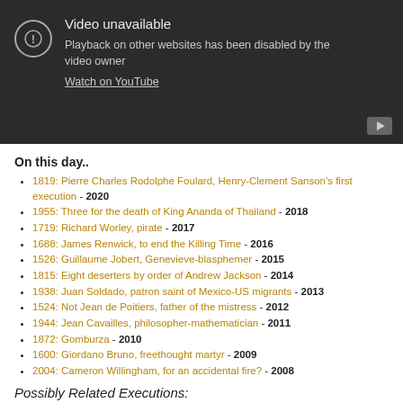[Figure (screenshot): YouTube video unavailable embed with dark background, exclamation circle icon, text 'Video unavailable', 'Playback on other websites has been disabled by the video owner', 'Watch on YouTube' link, and YouTube play button in bottom right corner.]
On this day..
1819: Pierre Charles Rodolphe Foulard, Henry-Clement Sanson's first execution - 2020
1955: Three for the death of King Ananda of Thailand - 2018
1719: Richard Worley, pirate - 2017
1688: James Renwick, to end the Killing Time - 2016
1526: Guillaume Jobert, Genevieve-blasphemer - 2015
1815: Eight deserters by order of Andrew Jackson - 2014
1938: Juan Soldado, patron saint of Mexico-US migrants - 2013
1524: Not Jean de Poitiers, father of the mistress - 2012
1944: Jean Cavailles, philosopher-mathematician - 2011
1872: Gomburza - 2010
1600: Giordano Bruno, freethought martyr - 2009
2004: Cameron Willingham, for an accidental fire? - 2008
Possibly Related Executions:
1859: Tantia Tope, Indian independence hero
1906: Chief Chimizinji, Malawi's Blackwater rebel